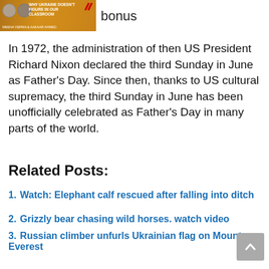[Figure (photo): Banner image with two faces and text 'WHY UKRAINE DOESN'T FIGURE IN OUR CLASSROOM' with an orange background and logo]
bonus
In 1972, the administration of then US President Richard Nixon declared the third Sunday in June as Father's Day. Since then, thanks to US cultural supremacy, the third Sunday in June has been unofficially celebrated as Father's Day in many parts of the world.
Related Posts:
Watch: Elephant calf rescued after falling into ditch
Grizzly bear chasing wild horses. watch video
Russian climber unfurls Ukrainian flag on Mount Everest
'New Office Rule' on the block has netizens chiming in
John Cena meets a fan with Down Syndrome who fled Ukraine